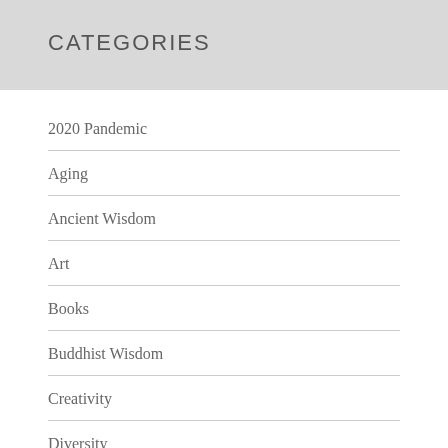CATEGORIES
2020 Pandemic
Aging
Ancient Wisdom
Art
Books
Buddhist Wisdom
Creativity
Diversity